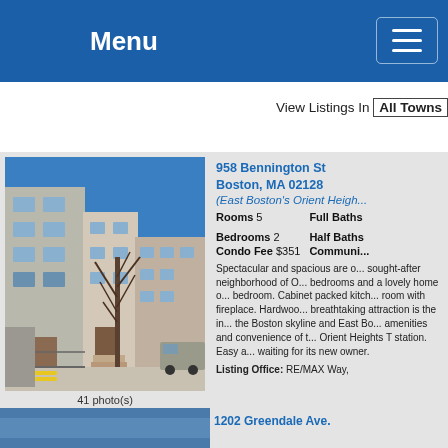Menu
View Listings In | All Towns
[Figure (photo): Exterior photo of a multi-story residential condo building at 958 Bennington St, Boston, MA 02128, with a bare tree in front]
41 photo(s)
958 Bennington St
Boston, MA 02128
(East Boston's Orient Heights)
Rooms 5   Full Baths
Bedrooms 2   Half Baths
Condo Fee $351   Community
Spectacular and spacious are one of the most sought-after neighborhood of Orient Heights 2 bedrooms and a lovely home office or third bedroom. Cabinet packed kitchen, large living room with fireplace. Hardwood floors. The breathtaking attraction is the incredible view of the Boston skyline and East Boston. All the amenities and convenience of the nearby Orient Heights T station. Easy and quick...waiting for its new owner.
Listing Office: RE/MAX Way,
1202 Greendale Ave.